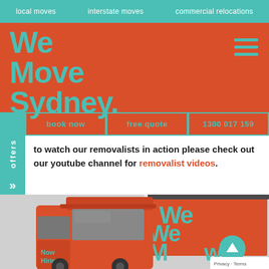local moves   interstate moves   commercial relocations
We Move Sydney.
book now   free quote   1300 017 159
offers
to watch our removalists in action please check out our youtube channel for removalist videos.
[Figure (photo): Two orange moving trucks branded with 'We Move Sydney' teal logo text. The closer truck cab shows 'Now Hiring' text. The trucks are parked together showing the cab and rear cargo container.]